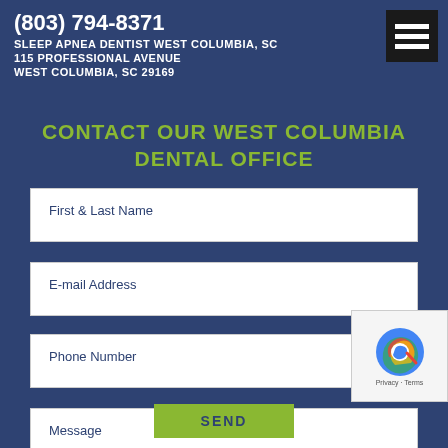(803) 794-8371
SLEEP APNEA DENTIST WEST COLUMBIA, SC
115 PROFESSIONAL AVENUE
WEST COLUMBIA, SC 29169
CONTACT OUR WEST COLUMBIA DENTAL OFFICE
First & Last Name
E-mail Address
Phone Number
Message
SEND